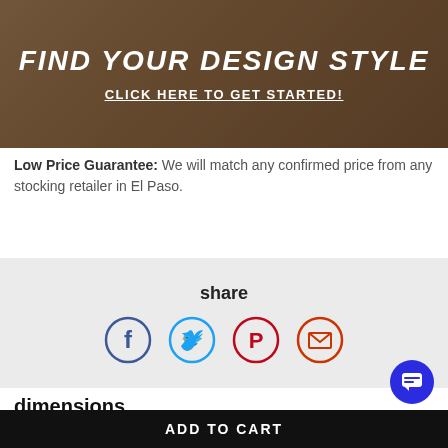[Figure (illustration): Brown/tan hero banner with italic bold text 'FIND YOUR DESIGN STYLE' and underlined bold text 'CLICK HERE TO GET STARTED!']
Low Price Guarantee: We will match any confirmed price from any stocking retailer in El Paso.
[Figure (infographic): Share section with label 'share' and four social media icon circles: Facebook (dark blue), Twitter (light blue), Pinterest (red), Email (orange-red)]
dimensions
dim: Width (inches): 91.5" W
dim: Depth or Length (inches): 80.75" D
dim: Height (inches): 64" H
ADD TO CART